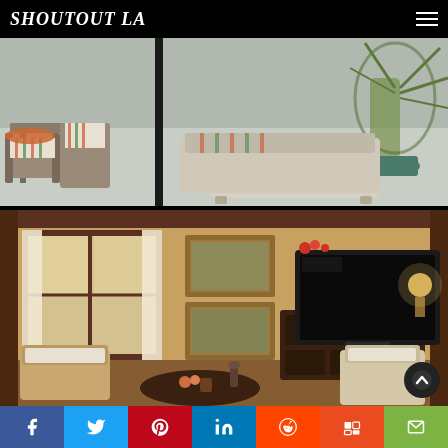SHOUTOUT LA
[Figure (photo): Outdoor patio area with rustic wooden furniture including chairs and benches with striped cushions, a chaise lounge with orange throw blanket, and tropical potted plants on a light grey floor]
[Figure (photo): Warm-toned living room interior with dark wood trim, framed paintings on yellow-orange walls, a flat-screen TV on an ornate dark cabinet, white curtains on windows, and seating arrangement around a small coffee table]
Facebook | Twitter | Pinterest | LinkedIn | Reddit | Mix | Email